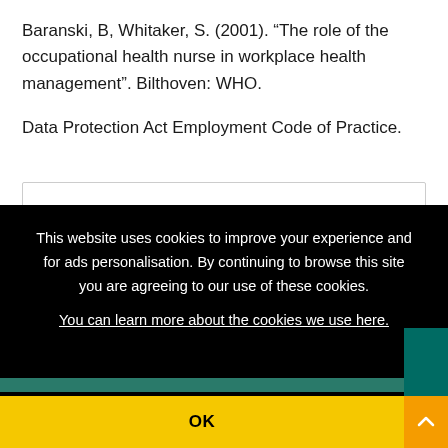Baranski, B, Whitaker, S. (2001). “The role of the occupational health nurse in workplace health management”. Bilthoven: WHO.
Data Protection Act Employment Code of Practice.
This website uses cookies to improve your experience and for ads personalisation. By continuing to browse this site you are agreeing to our use of these cookies. You can learn more about the cookies we use here.
OK